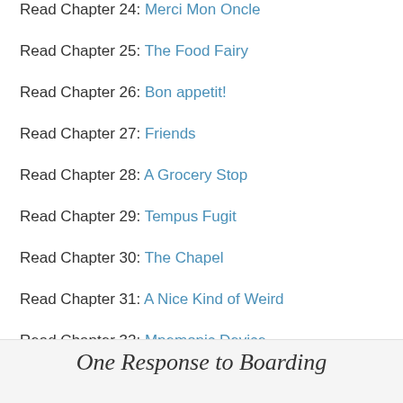Read Chapter 24: Merci Mon Oncle
Read Chapter 25: The Food Fairy
Read Chapter 26: Bon appetit!
Read Chapter 27: Friends
Read Chapter 28: A Grocery Stop
Read Chapter 29: Tempus Fugit
Read Chapter 30: The Chapel
Read Chapter 31: A Nice Kind of Weird
Read Chapter 32: Mnemonic Device
One Response to Boarding